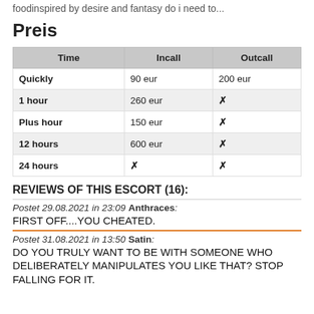foodinspired by desire and fantasy do i need to...
Preis
| Time | Incall | Outcall |
| --- | --- | --- |
| Quickly | 90 eur | 200 eur |
| 1 hour | 260 eur | ✗ |
| Plus hour | 150 eur | ✗ |
| 12 hours | 600 eur | ✗ |
| 24 hours | ✗ | ✗ |
REVIEWS OF THIS ESCORT (16):
Postet 29.08.2021 in 23:09 Anthraces: FIRST OFF....YOU CHEATED.
Postet 31.08.2021 in 13:50 Satin: DO YOU TRULY WANT TO BE WITH SOMEONE WHO DELIBERATELY MANIPULATES YOU LIKE THAT? STOP FALLING FOR IT.